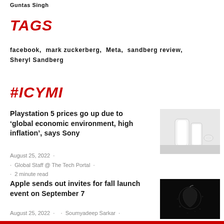Guntas Singh
TAGS
facebook,  mark zuckerberg,  Meta,  sandberg review,  Sheryl Sandberg
#ICYMI
Playstation 5 prices go up due to ‘global economic environment, high inflation’, says Sony
[Figure (photo): PlayStation 5 console and controller in white]
August 25, 2022  ·
·  Global Staff @ The Tech Portal  ·
·  2 minute read
Apple sends out invites for fall launch event on September 7
[Figure (photo): Dark Apple logo image]
August 25, 2022  ·    ·  Soumyadeep Sarkar  ·